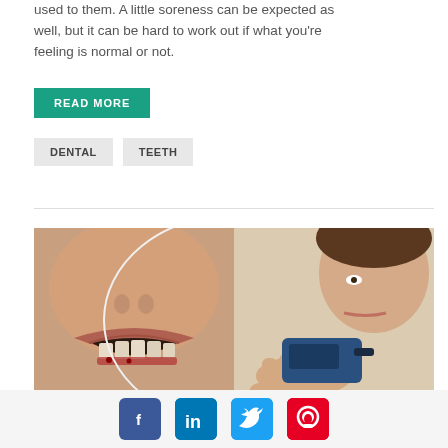used to them. A little soreness can be expected as well, but it can be hard to work out if what you're feeling is normal or not.
READ MORE
DENTAL
TEETH
[Figure (photo): Composite photo: left side shows a close-up of a mouth with bleeding/inflamed gums; right side shows a person holding a blood glucose meter. Overlaid text at bottom reads 'DIABETES AND ORAL HEALTH']
Social share icons: Facebook, LinkedIn, Twitter, Pinterest